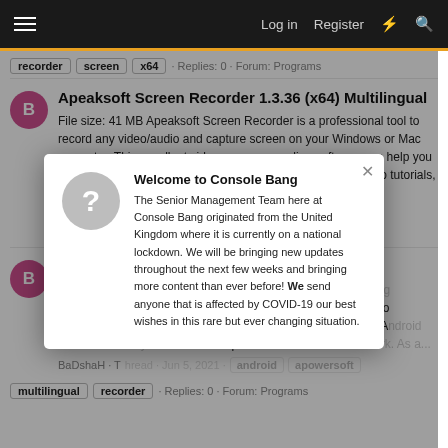Log in  Register
recorder  screen  x64  · Replies: 0 · Forum: Programs
Apeaksoft Screen Recorder 1.3.36 (x64) Multilingual
File size: 41 MB Apeaksoft Screen Recorder is a professional tool to record any video/audio and capture screen on your Windows or Mac computer. This excellent video screen recording software can help you easily get online movies and radio, record games, make video tutorials, capture webcam...
BaDshaH · Thread · Jun 7, 2021 · apeaksoft  multilingual  recorder  screen  x64 · Replies: 0 · Forum: Programs
Apowersoft Android Recorder - Multilingual
File size: 26.7 MB Apowersoft Android Recorder is an amazing program that allows users to mirror Android screen activities to computer without root. Once mirror feature is activated, your Android device will easily connect to computer under the same network. As a...
BaDshaH · Thread · Jun 5, 2021 · android  apowersoft  multilingual  recorder · Replies: 0 · Forum: Programs
Welcome to Console Bang
The Senior Management Team here at Console Bang originated from the United Kingdom where it is currently on a national lockdown. We will be bringing new updates throughout the next few weeks and bringing more content than ever before! We send anyone that is affected by COVID-19 our best wishes in this rare but ever changing situation.